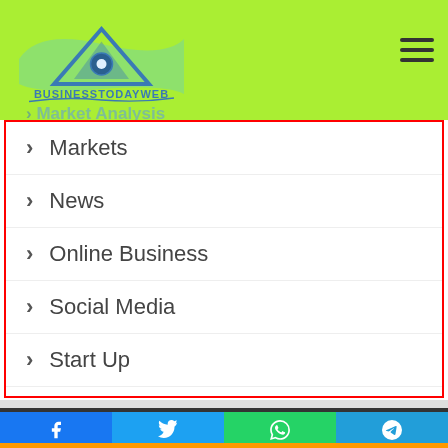[Figure (logo): BusinessTodayWeb logo with mountain/eye graphic in blue-green tones]
Market Analysis
Markets
News
Online Business
Social Media
Start Up
Vat & Tax
Businesstodayweb © Copyright 2022, All Rights Reserved, Powered By Rabbi It Firm
Contact Us   Privacy Policy